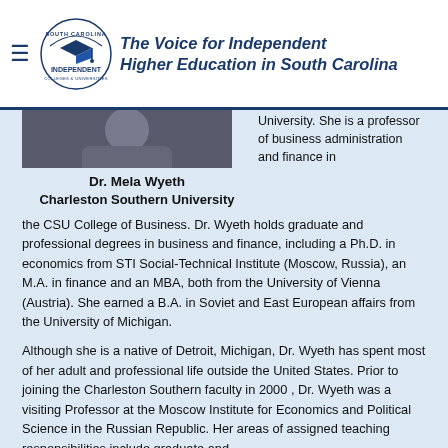The Voice for Independent Higher Education in South Carolina
[Figure (photo): Portrait photo of Dr. Mela Wyeth]
Dr. Mela Wyeth
Charleston Southern University
University. She is a professor of business administration and finance in
the CSU College of Business. Dr. Wyeth holds graduate and professional degrees in business and finance, including a Ph.D. in economics from STI Social-Technical Institute (Moscow, Russia), an M.A. in finance and an MBA, both from the University of Vienna (Austria). She earned a B.A. in Soviet and East European affairs from the University of Michigan.
Although she is a native of Detroit, Michigan, Dr. Wyeth has spent most of her adult and professional life outside the United States. Prior to joining the Charleston Southern faculty in 2000 , Dr. Wyeth was a visiting Professor at the Moscow Institute for Economics and Political Science in the Russian Republic. Her areas of assigned teaching responsibilities include graduate and